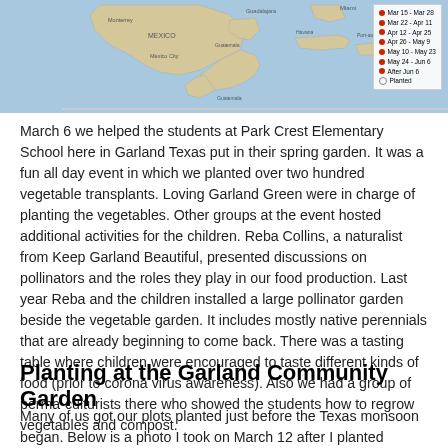[Figure (map): Map of Central America and Caribbean region with a legend showing planting date ranges: Mar 15-Mar 28, Mar 22-Apr 11, Apr 12-Apr 25, Apr 26-May 9, May 10-May 23, May 24-Jun 6, After Jun 6, Planted]
March 6 we helped the students at Park Crest Elementary School here in Garland Texas put in their spring garden.  It was a fun all day event in which we planted over two hundred vegetable transplants. Loving Garland Green were in charge of planting the vegetables. Other groups at the event hosted additional activities for the children.  Reba Collins, a naturalist from Keep Garland Beautiful, presented discussions on pollinators and the roles they play in our food production.  Last year Reba and the children installed a large pollinator garden beside the vegetable garden.  It includes mostly native perennials that are already beginning to come back.  There was a tasting table where children were encouraged to taste different kinds of food (prior to corona virus awareness).  Also we had a group of perma-culturists there who showed the students how to regrow vegetables and compost.
Planting at the Garland Community Garden
Many of us got our plots planted just before the Texas monsoon began.  Below is a photo I took on March 12 after I planted lettuce,